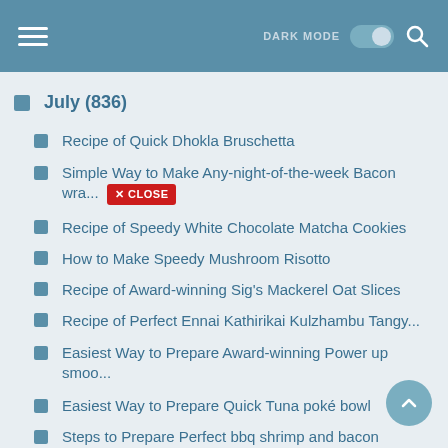DARK MODE [toggle] [search]
July (836)
Recipe of Quick Dhokla Bruschetta
Simple Way to Make Any-night-of-the-week Bacon wra... [x CLOSE]
Recipe of Speedy White Chocolate Matcha Cookies
How to Make Speedy Mushroom Risotto
Recipe of Award-winning Sig's Mackerel Oat Slices
Recipe of Perfect Ennai Kathirikai Kulzhambu Tangy...
Easiest Way to Prepare Award-winning Power up smoo...
Easiest Way to Prepare Quick Tuna poké bowl
Steps to Prepare Perfect bbq shrimp and bacon
Recipe of Homemade Tikki cholle